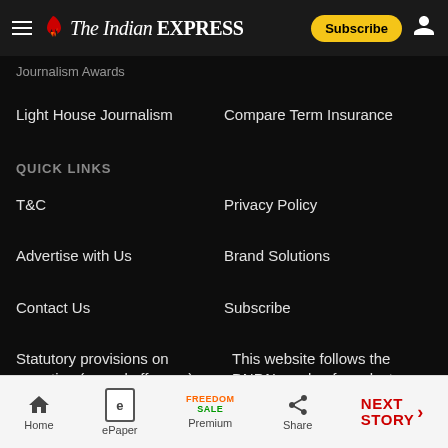The Indian Express — Subscribe
Journalism Awards
Light House Journalism
Compare Term Insurance
QUICK LINKS
T&C
Privacy Policy
Advertise with Us
Brand Solutions
Contact Us
Subscribe
Statutory provisions on reporting (sexual offenses)
This website follows the DNPA's code of conduct
Home | ePaper | Premium | Share | NEXT STORY